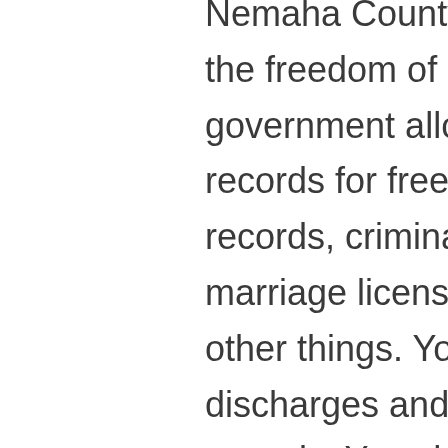Nemaha County Kansas, you can use the freedom of information law. The government allows you to search court records for free. You can find vital records, criminal and property records, marriage licenses, and payroll, among other things. You can also find military discharges and traffic and driving records. You should be sure to submit your request to the right office, so that you can be sure that you're receiving a timely response.

To access vital records, you can visit the Kansas Department of Health.